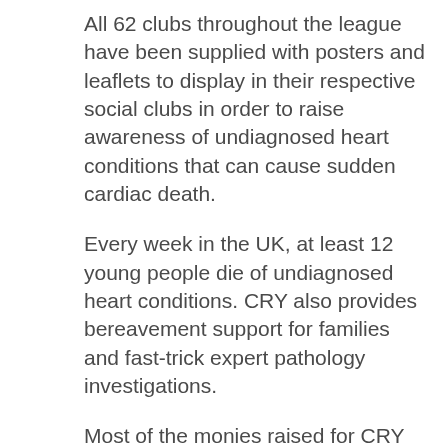All 62 clubs throughout the league have been supplied with posters and leaflets to display in their respective social clubs in order to raise awareness of undiagnosed heart conditions that can cause sudden cardiac death.
Every week in the UK, at least 12 young people die of undiagnosed heart conditions. CRY also provides bereavement support for families and fast-trick expert pathology investigations.
Most of the monies raised for CRY go towards funding the numerous screening sessions put on by the charity throughout the country.
Donations from any fundraising activities carried out can be made quickly and easily via the C-R-Y website here, and clubs are requested to then advise the league of the contributions they have made to help monitor the ongoing success of the